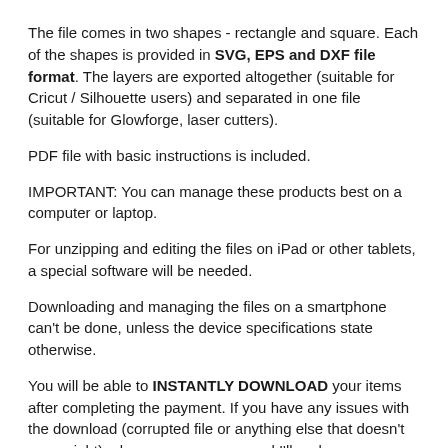The file comes in two shapes - rectangle and square. Each of the shapes is provided in SVG, EPS and DXF file format. The layers are exported altogether (suitable for Cricut / Silhouette users) and separated in one file (suitable for Glowforge, laser cutters).
PDF file with basic instructions is included.
IMPORTANT: You can manage these products best on a computer or laptop.
For unzipping and editing the files on iPad or other tablets, a special software will be needed.
Downloading and managing the files on a smartphone can't be done, unless the device specifications state otherwise.
You will be able to INSTANTLY DOWNLOAD your items after completing the payment. If you have any issues with the download (corrupted file or anything else that doesn't seem right), please message me and I'll reply as soon as possible.